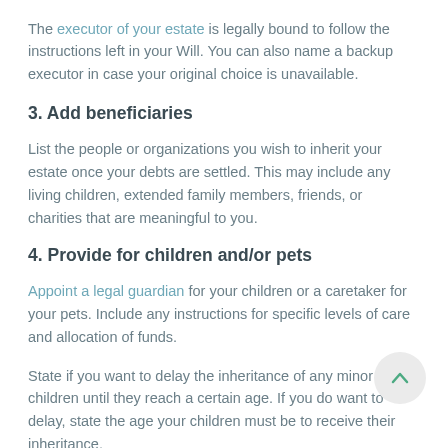The executor of your estate is legally bound to follow the instructions left in your Will. You can also name a backup executor in case your original choice is unavailable.
3. Add beneficiaries
List the people or organizations you wish to inherit your estate once your debts are settled. This may include any living children, extended family members, friends, or charities that are meaningful to you.
4. Provide for children and/or pets
Appoint a legal guardian for your children or a caretaker for your pets. Include any instructions for specific levels of care and allocation of funds.
State if you want to delay the inheritance of any minor children until they reach a certain age. If you do want to delay, state the age your children must be to receive their inheritance.
5. Sign the document